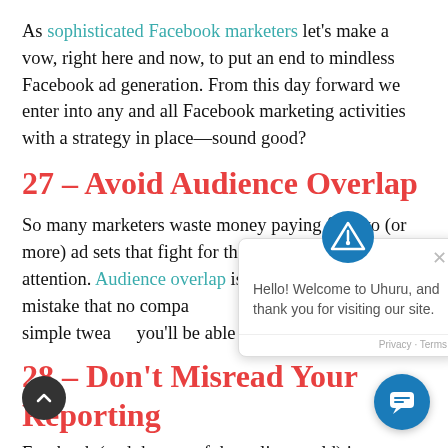As sophisticated Facebook marketers let's make a vow, right here and now, to put an end to mindless Facebook ad generation. From this day forward we enter into any and all Facebook marketing activities with a strategy in place—sound good?
27 – Avoid Audience Overlap
So many marketers waste money paying for two (or more) ad sets that fight for the same audience's attention. Audience overlap is an easily avoidable mistake that no compa… With a few simple twea… you'll be able to avoid p…
28 – Don't Misread Your Reporting
Facebook (and the rest of the online world) is very